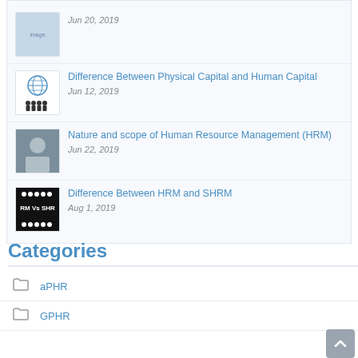[Figure (illustration): Thumbnail image with globe and people silhouettes for article about Physical Capital and Human Capital]
Difference Between Physical Capital and Human Capital
Jun 12, 2019
[Figure (photo): Thumbnail photo of a person for article about Nature and scope of Human Resource Management]
Nature and scope of Human Resource Management (HRM)
Jun 22, 2019
[Figure (illustration): Thumbnail image with text RM Vs SHR and people silhouettes for Difference Between HRM and SHRM article]
Difference Between HRM and SHRM
Aug 1, 2019
Categories
aPHR
GPHR